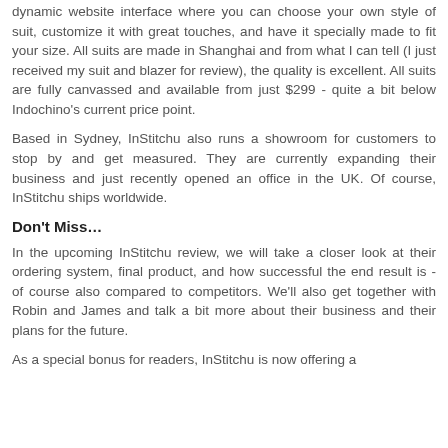dynamic website interface where you can choose your own style of suit, customize it with great touches, and have it specially made to fit your size. All suits are made in Shanghai and from what I can tell (I just received my suit and blazer for review), the quality is excellent. All suits are fully canvassed and available from just $299 - quite a bit below Indochino's current price point.
Based in Sydney, InStitchu also runs a showroom for customers to stop by and get measured. They are currently expanding their business and just recently opened an office in the UK. Of course, InStitchu ships worldwide.
Don't Miss…
In the upcoming InStitchu review, we will take a closer look at their ordering system, final product, and how successful the end result is - of course also compared to competitors. We'll also get together with Robin and James and talk a bit more about their business and their plans for the future.
As a special bonus for readers, InStitchu is now offering a